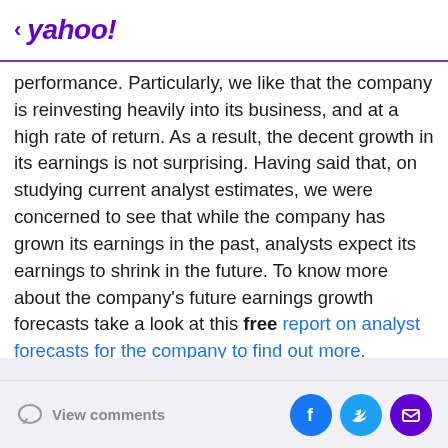< yahoo!
performance. Particularly, we like that the company is reinvesting heavily into its business, and at a high rate of return. As a result, the decent growth in its earnings is not surprising. Having said that, on studying current analyst estimates, we were concerned to see that while the company has grown its earnings in the past, analysts expect its earnings to shrink in the future. To know more about the company's future earnings growth forecasts take a look at this free report on analyst forecasts for the company to find out more.
View comments | Facebook | Twitter | Email